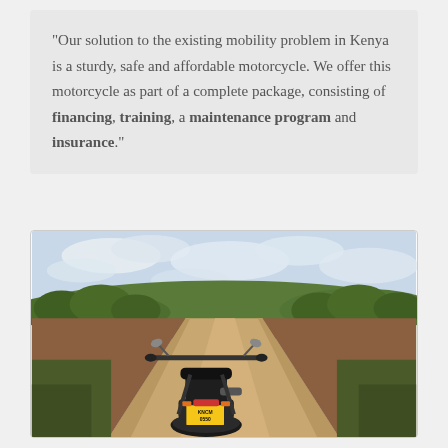"Our solution to the existing mobility problem in Kenya is a sturdy, safe and affordable motorcycle. We offer this motorcycle as part of a complete package, consisting of financing, training, a maintenance program and insurance."
[Figure (photo): A motorcycle with a Kenyan license plate (KNCM 0550) parked on a wide dirt road in Kenya, viewed from behind, with green trees and bush on either side and a cloudy sky above.]